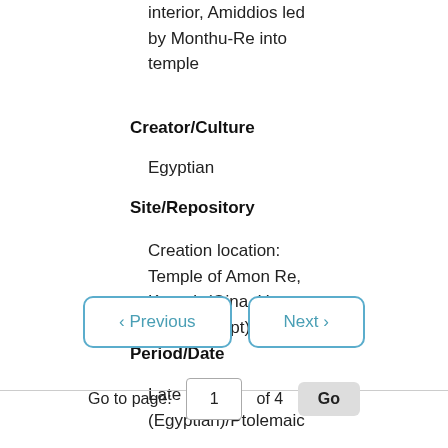interior, Amiddios led by Monthu-Re into temple
Creator/Culture
Egyptian
Site/Repository
Creation location: Temple of Amon Re, Karnak (Qina, Upper Egypt, Egypt)
Period/Date
Late Period (Egyptian)/Ptolemaic
< Previous  Next >  Go to page: 1 of 4  Go